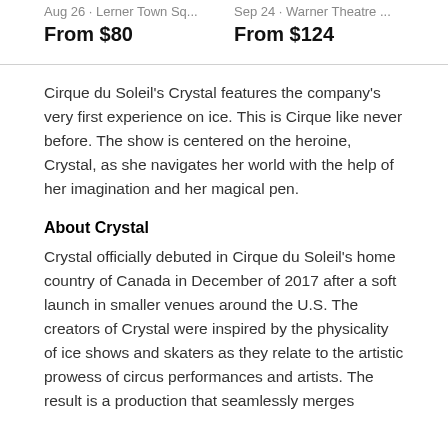Aug 26 · Lerner Town Sq...
Sep 24 · Warner Theatre ...
From $80
From $124
Cirque du Soleil's Crystal features the company's very first experience on ice. This is Cirque like never before. The show is centered on the heroine, Crystal, as she navigates her world with the help of her imagination and her magical pen.
About Crystal
Crystal officially debuted in Cirque du Soleil's home country of Canada in December of 2017 after a soft launch in smaller venues around the U.S. The creators of Crystal were inspired by the physicality of ice shows and skaters as they relate to the artistic prowess of circus performances and artists. The result is a production that seamlessly merges